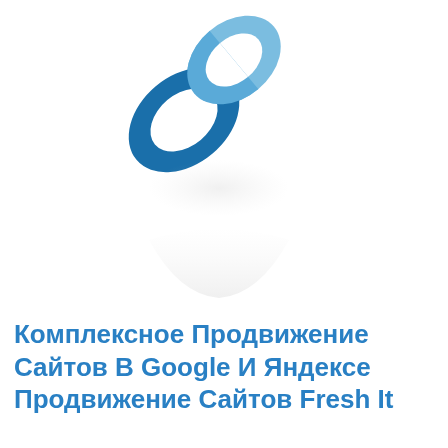[Figure (logo): Two interlinked chain rings logo in blue tones with a reflection (shadow) below, on a white background.]
Комплексное Продвижение Сайтов В Google И Яндексе Продвижение Сайтов Fresh It